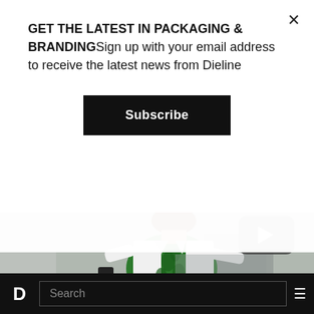GET THE LATEST IN PACKAGING & BRANDINGSign up with your email address to receive the latest news from Dieline
Subscribe
[Figure (photo): Woman in white jacket and green leaf-print dress holding a remote control/phone, photographed from behind/side against a grey background]
“We are really excited about this, and the idea is
D  Search  ≡